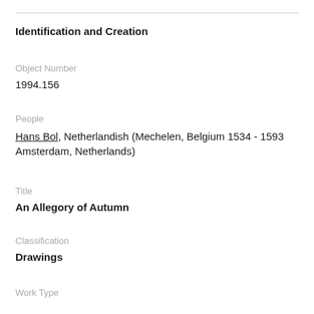Identification and Creation
Object Number
1994.156
People
Hans Bol, Netherlandish (Mechelen, Belgium 1534 - 1593 Amsterdam, Netherlands)
Title
An Allegory of Autumn
Classification
Drawings
Work Type